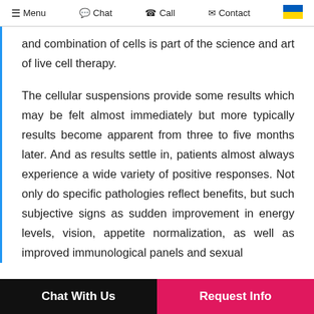Menu  Chat  Call  Contact
and combination of cells is part of the science and art of live cell therapy.
The cellular suspensions provide some results which may be felt almost immediately but more typically results become apparent from three to five months later. And as results settle in, patients almost always experience a wide variety of positive responses. Not only do specific pathologies reflect benefits, but such subjective signs as sudden improvement in energy levels, vision, appetite normalization, as well as improved immunological panels and sexual
Chat With Us   Request Info